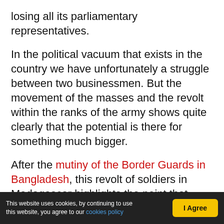losing all its parliamentary representatives.
In the political vacuum that exists in the country we have unfortunately a struggle between two businessmen. But the movement of the masses and the revolt within the ranks of the army shows quite clearly that the potential is there for something much bigger.
After the mutiny of the Border Guards in Bangladesh, this revolt of soldiers in Madagascar highlights the point that Marxists have always made: in acute social, economic and political crises, when the masses start to move, the soldiers, the "workers in uniform", sons of workers and
This website uses cookies, by continuing to use this website, you agree to our cookies policy  I Agree